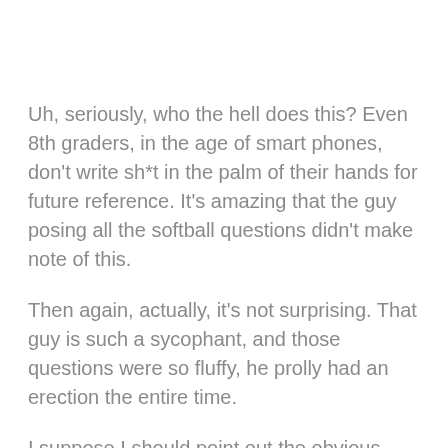Uh, seriously, who the hell does this? Even 8th graders, in the age of smart phones, don't write sh*t in the palm of their hands for future reference. It's amazing that the guy posing all the softball questions didn't make note of this.
Then again, actually, it's not surprising. That guy is such a sycophant, and those questions were so fluffy, he prolly had an erection the entire time.
I suppose I should point out the obvious here. President Obama is routinely assailed as being an empty suit because he reads so elegantly from a teleprompter. What exactly does that make a person who reads off the palm of her clammy hands?
An empty skirt, perhaps?